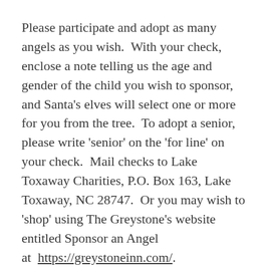Please participate and adopt as many angels as you wish.  With your check, enclose a note telling us the age and gender of the child you wish to sponsor, and Santa's elves will select one or more for you from the tree.  To adopt a senior, please write 'senior' on the 'for line' on your check.  Mail checks to Lake Toxaway Charities, P.O. Box 163, Lake Toxaway, NC 28747.  Or you may wish to 'shop' using The Greystone's website entitled Sponsor an Angel at  https://greystoneinn.com/.
Holidays are joyous times, and your gift ensures these local children and seniors will know they are not forgotten.  Thank you on behalf of our